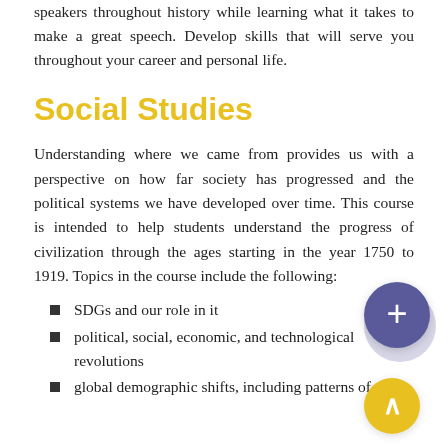speakers throughout history while learning what it takes to make a great speech. Develop skills that will serve you throughout your career and personal life.
Social Studies
Understanding where we came from provides us with a perspective on how far society has progressed and the political systems we have developed over time. This course is intended to help students understand the progress of civilization through the ages starting in the year 1750 to 1919. Topics in the course include the following:
SDGs and our role in it
political, social, economic, and technological revolutions
global demographic shifts, including patterns of